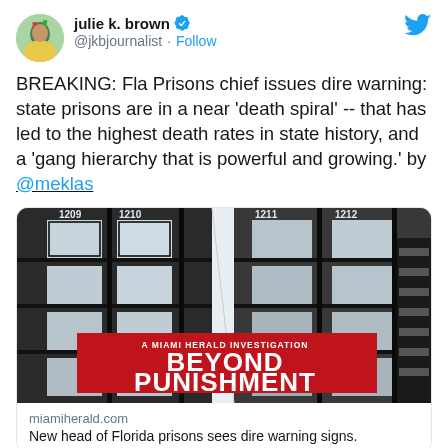[Figure (screenshot): Twitter/X profile avatar of julie k. brown — circular photo showing a person in a colorful outfit]
julie k. brown ✓ @jkbjournalist · Follow
[Figure (logo): Twitter bird logo in blue, top right corner]
BREAKING: Fla Prisons chief issues dire warning: state prisons are in a near 'death spiral' -- that has led to the highest death rates in state history, and a 'gang hierarchy that is powerful and growing.' by @meklas
[Figure (photo): Interior photo of a multi-story prison cell block with numbered cells 1209, 1210, 1211, 1212, overlaid with red banner text reading 'A MIAMI HERALD INVESTIGATION — BEYOND PUNISHMENT']
miamiherald.com
New head of Florida prisons sees dire warning signs.